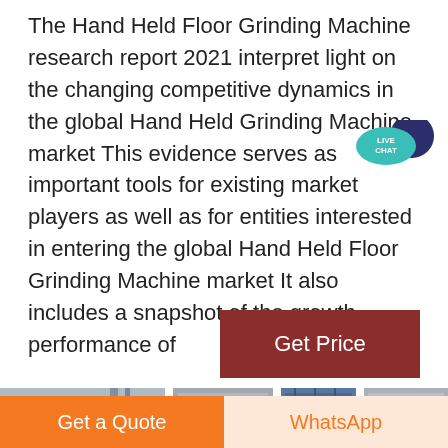The Hand Held Floor Grinding Machine research report 2021 interpret light on the changing competitive dynamics in the global Hand Held Grinding Machine market This evidence serves as important tools for existing market players as well as for entities interested in entering the global Hand Held Floor Grinding Machine market It also includes a snapshot of the growth performance of
[Figure (other): Live Chat badge — teal speech bubble with dark blue circle and white text LIVE CHAT]
[Figure (other): Get Price button — dark red rectangular button with white text]
[Figure (photo): Strip of industrial building / grinding machine facility photos]
Get a Quote
WhatsApp